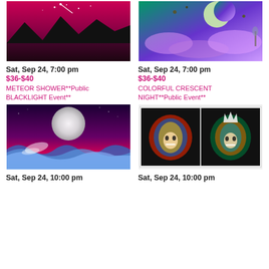[Figure (illustration): Painting of a purple/pink aurora borealis sky over dark mountains reflected in water]
Sat, Sep 24, 7:00 pm
$36-$40
METEOR SHOWER**Public BLACKLIGHT Event**
[Figure (illustration): Painting of a green/purple crescent moon with asteroids and clouds]
Sat, Sep 24, 7:00 pm
$36-$40
COLORFUL CRESCENT NIGHT**Public Event**
[Figure (illustration): Painting of a large full moon over ocean waves in a purple night sky]
Sat, Sep 24, 10:00 pm
[Figure (illustration): Two paintings: colorful neon lion on left, colorful neon lioness with crown on right]
Sat, Sep 24, 10:00 pm